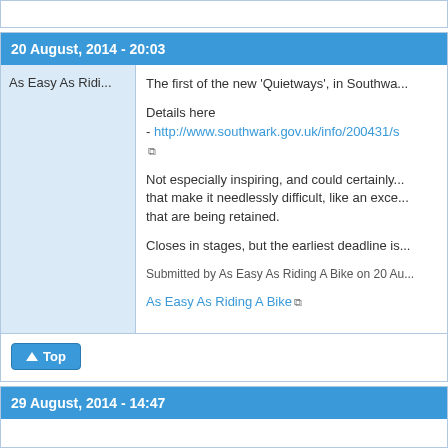20 August, 2014 - 20:03
As Easy As Ridi...
The first of the new 'Quietways', in Southwa...

Details here
- http://www.southwark.gov.uk/info/200431/s

Not especially inspiring, and could certainly... that make it needlessly difficult, like an exce... that are being retained.

Closes in stages, but the earliest deadline is...

Submitted by As Easy As Riding A Bike on 20 Au...
As Easy As Riding A Bike
29 August, 2014 - 14:47